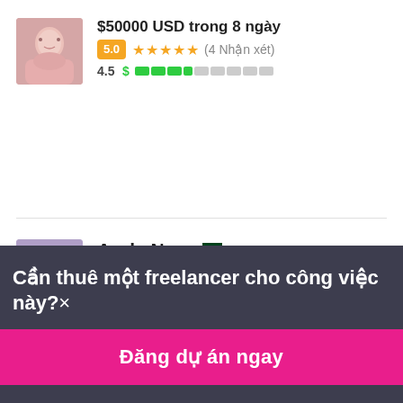$50000 USD trong 8 ngày
5.0 ★★★★★ (4 Nhận xét)
4.5 $
AzzkaNoor
$50000 USD trong 45 ngày
5.0 ★★★★★ (1 Nhận xét)
4.4 $
Cần thuê một freelancer cho công việc này?×
Đăng dự án ngay